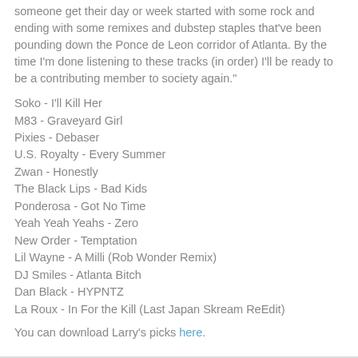someone get their day or week started with some rock and ending with some remixes and dubstep staples that've been pounding down the Ponce de Leon corridor of Atlanta. By the time I'm done listening to these tracks (in order) I'll be ready to be a contributing member to society again."
Soko - I'll Kill Her
M83 - Graveyard Girl
Pixies - Debaser
U.S. Royalty - Every Summer
Zwan - Honestly
The Black Lips - Bad Kids
Ponderosa - Got No Time
Yeah Yeah Yeahs - Zero
New Order - Temptation
Lil Wayne - A Milli (Rob Wonder Remix)
DJ Smiles - Atlanta Bitch
Dan Black - HYPNTZ
La Roux - In For the Kill (Last Japan Skream ReEdit)
You can download Larry's picks here.